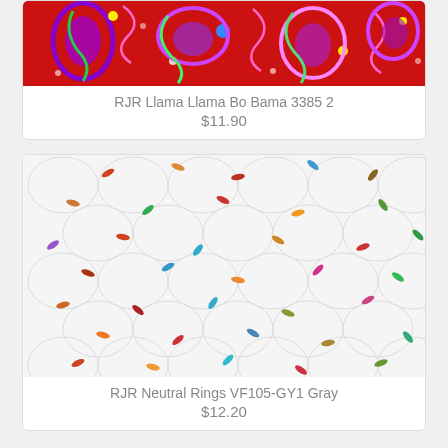[Figure (photo): Colorful paisley pattern fabric on red background - RJR Llama Llama Bo Bama 3385 2]
RJR Llama Llama Bo Bama 3385 2
$11.90
[Figure (photo): White fabric with colorful small oval/leaf shaped confetti dots scattered on hexagonal ring pattern background - RJR Neutral Rings VF105-GY1 Gray]
RJR Neutral Rings VF105-GY1 Gray
$12.20